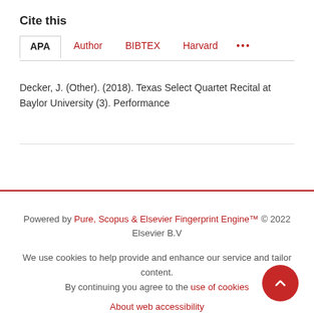Cite this
APA | Author | BIBTEX | Harvard | ...
Decker, J. (Other). (2018). Texas Select Quartet Recital at Baylor University (3). Performance
Powered by Pure, Scopus & Elsevier Fingerprint Engine™ © 2022 Elsevier B.V

We use cookies to help provide and enhance our service and tailor content. By continuing you agree to the use of cookies

About web accessibility